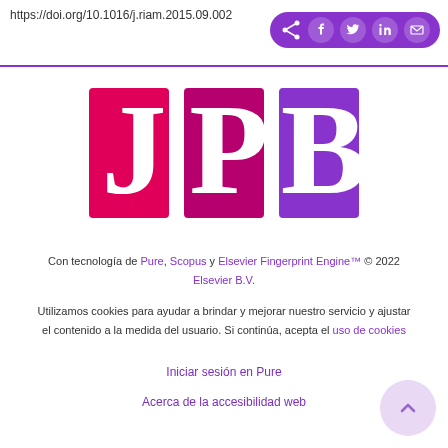https://doi.org/10.1016/j.riam.2015.09.002
[Figure (logo): JPB journal logo with pink J, magenta P, purple B letters on colored squares]
Con tecnología de Pure, Scopus y Elsevier Fingerprint Engine™ © 2022 Elsevier B.V.
Utilizamos cookies para ayudar a brindar y mejorar nuestro servicio y ajustar el contenido a la medida del usuario. Si continúa, acepta el uso de cookies
Iniciar sesión en Pure
Acerca de la accesibilidad web